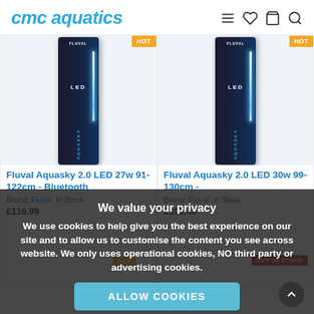cmc aquatics
[Figure (photo): Fluval Aquasky 2.0 LED 27w product box photo, tall vertical box with LED strip lighting, HOT badge top right]
Fluval Aquasky 2.0 LED 27w 91-122cm - Bluetooth
Brand: Fluval  In Stock
£116.99
[Figure (photo): Fluval Aquasky 2.0 LED 30w product box photo, tall vertical box with LED strip lighting, HOT badge top right]
Fluval Aquasky 2.0 LED 30w 99-130cm -
Brand: Fluval  In Stock
£101.49
We value your privacy
We use cookies to help give you the best experience on our site and to allow us to customise the content you see across website. We only uses operational cookies, NO third party or advertising cookies.
ALLOW COOKIES